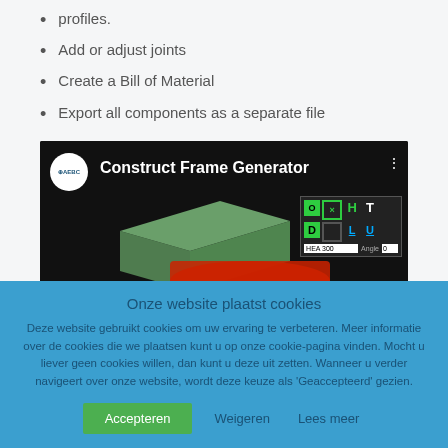profiles.
Add or adjust joints
Create a Bill of Material
Export all components as a separate file
[Figure (screenshot): Screenshot of a video thumbnail titled 'Construct Frame Generator' showing a 3D steel beam rendering and a software toolbar with green letter grid icons (O, H, T, D, L, U) on dark background, with AEBC logo.]
Onze website plaatst cookies
Deze website gebruikt cookies om uw ervaring te verbeteren. Meer informatie over de cookies die we plaatsen kunt u op onze cookie-pagina vinden. Mocht u liever geen cookies willen, dan kunt u deze uit zetten. Wanneer u verder navigeert over onze website, wordt deze keuze als 'Geaccepteerd' gezien.
Accepteren | Weigeren | Lees meer